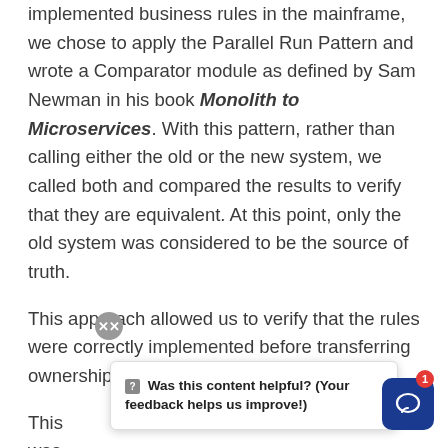implemented business rules in the mainframe, we chose to apply the Parallel Run Pattern and wrote a Comparator module as defined by Sam Newman in his book Monolith to Microservices. With this pattern, rather than calling either the old or the new system, we called both and compared the results to verify that they are equivalent. At this point, only the old system was considered to be the source of truth.
This approach allowed us to verify that the rules were correctly implemented before transferring ownership of the data to the new system.
This was [obscured] at point: